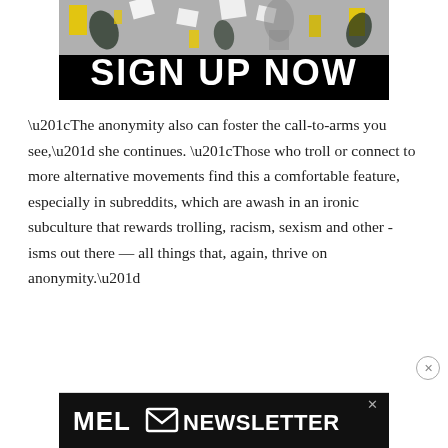[Figure (illustration): A banner advertisement with a collage image at top showing papers, leaves, and figures in black/white/yellow tones, with bold white 'SIGN UP NOW' text on black background below.]
“The anonymity also can foster the call-to-arms you see,” she continues. “Those who troll or connect to more alternative movements find this a comfortable feature, especially in subreddits, which are awash in an ironic subculture that rewards trolling, racism, sexism and other -isms out there — all things that, again, thrive on anonymity.”
[Figure (logo): MEL Newsletter banner advertisement at bottom with white bold text 'MEL [envelope icon] NEWSLETTER' on dark background, with an X close button.]